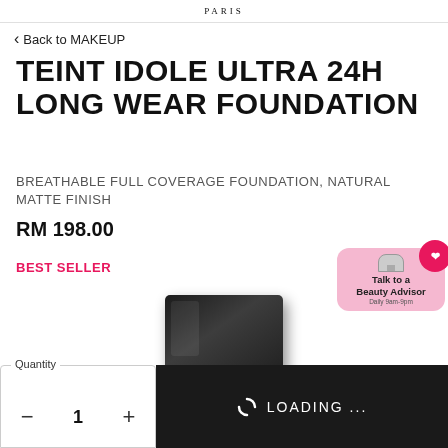PARIS
< Back to MAKEUP
TEINT IDOLE ULTRA 24H LONG WEAR FOUNDATION
BREATHABLE FULL COVERAGE FOUNDATION, NATURAL MATTE FINISH
RM 198.00
BEST SELLER
[Figure (screenshot): Talk to a Beauty Advisor - Daily 9am-9pm button with pink background and heart icon]
[Figure (photo): Lancôme Teint Idole Ultra 24H foundation compact in black rectangular packaging]
Quantity
- 1 +
LOADING ...